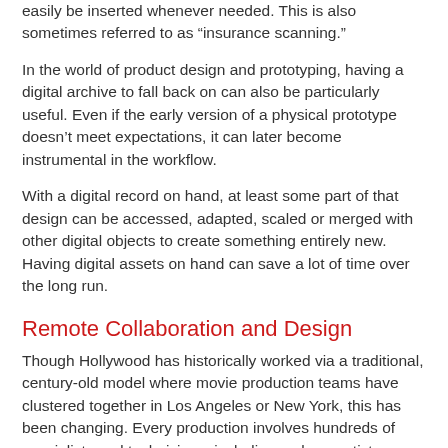easily be inserted whenever needed. This is also sometimes referred to as “insurance scanning.”
In the world of product design and prototyping, having a digital archive to fall back on can also be particularly useful. Even if the early version of a physical prototype doesn’t meet expectations, it can later become instrumental in the workflow.
With a digital record on hand, at least some part of that design can be accessed, adapted, scaled or merged with other digital objects to create something entirely new. Having digital assets on hand can save a lot of time over the long run.
Remote Collaboration and Design
Though Hollywood has historically worked via a traditional, century-old model where movie production teams have clustered together in Los Angeles or New York, this has been changing. Every production involves hundreds of specialists and technicians, including makeup artists